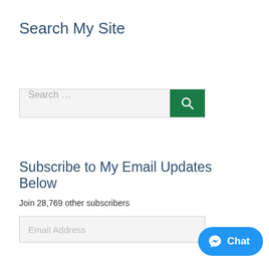Search My Site
[Figure (other): Search input field with green search button]
Subscribe to My Email Updates Below
Join 28,769 other subscribers
[Figure (other): Email Address input field]
[Figure (other): Blue Chat button with Messenger icon]